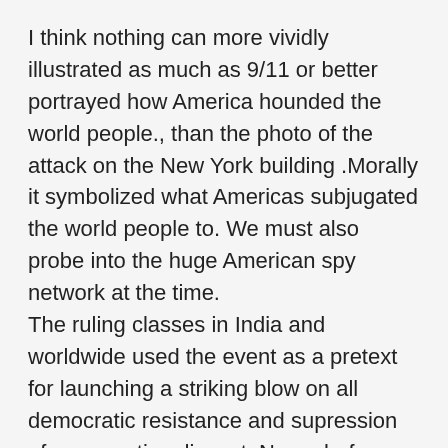I think nothing can more vividly illustrated as much as 9/11 or better portrayed how America hounded the world people., than the photo of the attack on the New York building .Morally it symbolized what Americas subjugated the world people to. We must also probe into the huge American spy network at the time.
The ruling classes in India and worldwide used the event as a pretext for launching a striking blow on all democratic resistance and supression of any creative dissent. Never before has police deployment been as intensive or global capital infiltrated such a magnitude.
The incident also reflected how genuine independence was not established in many a third world country after ages and civilization...